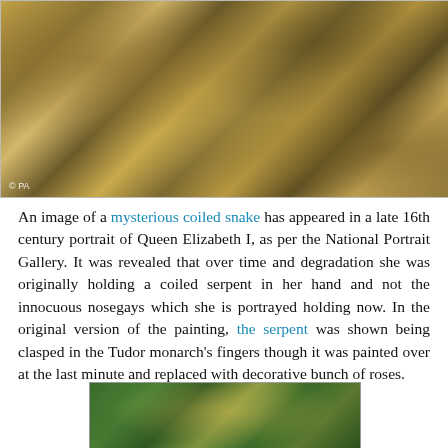[Figure (photo): Close-up detail of a late 16th century portrait of Queen Elizabeth I, showing ornate golden jeweled dress with a hand holding a flower/nosegay, with a copyright mark 'PA' in the bottom left corner.]
An image of a mysterious coiled snake has appeared in a late 16th century portrait of Queen Elizabeth I, as per the National Portrait Gallery. It was revealed that over time and degradation she was originally holding a coiled serpent in her hand and not the innocuous nosegays which she is portrayed holding now. In the original version of the painting, the serpent was shown being clasped in the Tudor monarch's fingers though it was painted over at the last minute and replaced with decorative bunch of roses.
[Figure (photo): Partial view of another detail from the Queen Elizabeth I portrait, showing green and gold ornamental decorations with a circular medallion or detail visible.]